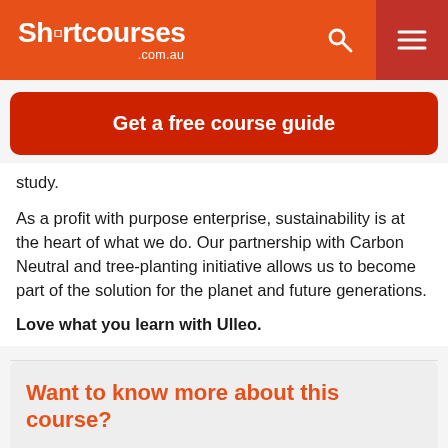Shcrtcourses .com.au
Get a free course guide
study.
As a profit with purpose enterprise, sustainability is at the heart of what we do. Our partnership with Carbon Neutral and tree-planting initiative allows us to become part of the solution for the planet and future generations.
Love what you learn with Ulleo.
Want to know more about this course?